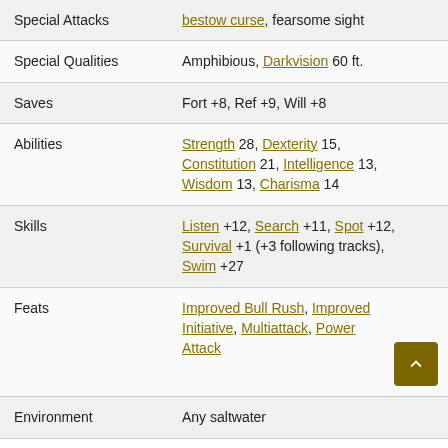| Attribute | Value |
| --- | --- |
| Special Attacks | bestow curse, fearsome sight |
| Special Qualities | Amphibious, Darkvision 60 ft. |
| Saves | Fort +8, Ref +9, Will +8 |
| Abilities | Strength 28, Dexterity 15, Constitution 21, Intelligence 13, Wisdom 13, Charisma 14 |
| Skills | Listen +12, Search +11, Spot +12, Survival +1 (+3 following tracks), Swim +27 |
| Feats | Improved Bull Rush, Improved Initiative, Multiattack, Power Attack |
| Environment | Any saltwater |